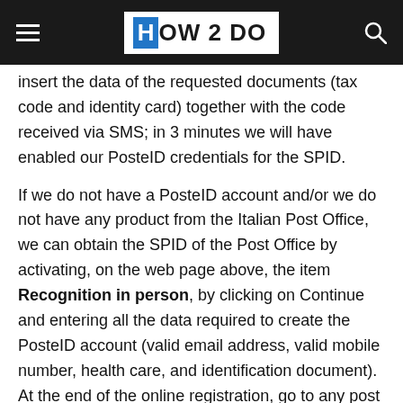HOW 2 DO
insert the data of the requested documents (tax code and identity card) together with the code received via SMS; in 3 minutes we will have enabled our PosteID credentials for the SPID.
If we do not have a PosteID account and/or we do not have any product from the Italian Post Office, we can obtain the SPID of the Post Office by activating, on the web page above, the item Recognition in person, by clicking on Continue and entering all the data required to create the PosteID account (valid email address, valid mobile number, health care, and identification document). At the end of the online registration, go to any post office and carry out the identification, so that you can also use the credentials for the SPID.